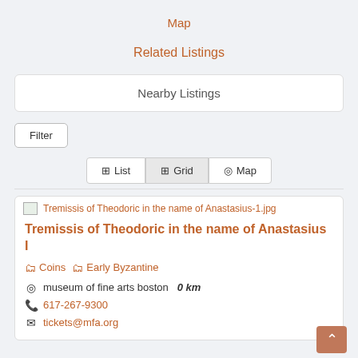Map
Related Listings
Nearby Listings
Filter
List  Grid  Map
[Figure (screenshot): Broken image placeholder for Tremissis of Theodoric in the name of Anastasius-1.jpg]
Tremissis of Theodoric in the name of Anastasius I
Coins  Early Byzantine
museum of fine arts boston  0 km
617-267-9300
tickets@mfa.org